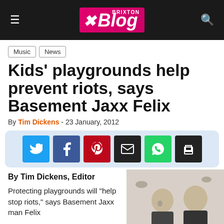Brixton Blog
Music
News
Kids' playgrounds help prevent riots, says Basement Jaxx Felix
By Tim Dickens - 23 January, 2012
[Figure (other): Social sharing buttons: Twitter, Facebook, Pinterest, Email, WhatsApp, Print]
By Tim Dickens, Editor
Protecting playgrounds will "help stop riots," says Basement Jaxx man Felix
[Figure (photo): Photo of two men, members of Basement Jaxx]